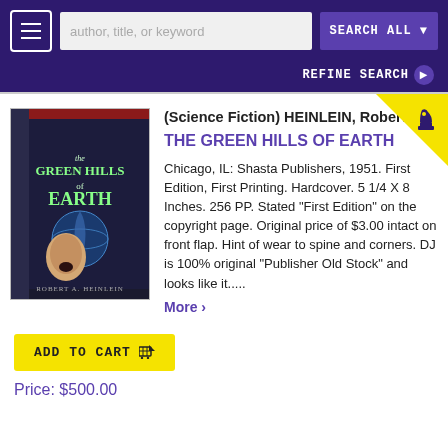[Figure (screenshot): Navigation bar with hamburger menu, search input placeholder 'author, title, or keyword', and 'SEARCH ALL' button on purple background]
[Figure (screenshot): Refine search bar on purple background with 'REFINE SEARCH' button and circle arrow icon]
[Figure (photo): Book cover photo: The Green Hills of Earth by Robert A. Heinlein, showing a person screaming against a dark background with an Earth globe]
(Science Fiction) HEINLEIN, Robert
THE GREEN HILLS OF EARTH
Chicago, IL: Shasta Publishers, 1951. First Edition, First Printing. Hardcover. 5 1/4 X 8 Inches. 256 PP. Stated "First Edition" on the copyright page. Original price of $3.00 intact on front flap. Hint of wear to spine and corners. DJ is 100% original "Publisher Old Stock" and looks like it.....
More >
ADD TO CART
Price: $500.00